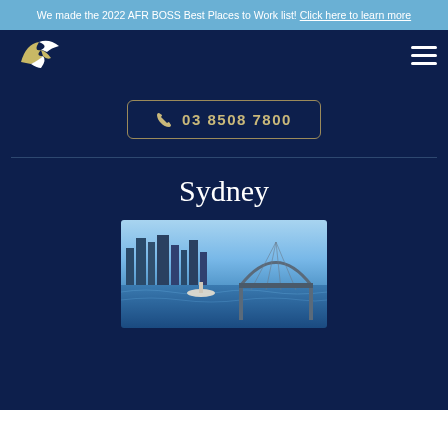We made the 2022 AFR BOSS Best Places to Work list! Click here to learn more
[Figure (logo): Bird/eagle logo in white and gold colors]
03 8508 7800
Sydney
[Figure (photo): Aerial photo of Sydney skyline and harbour bridge]